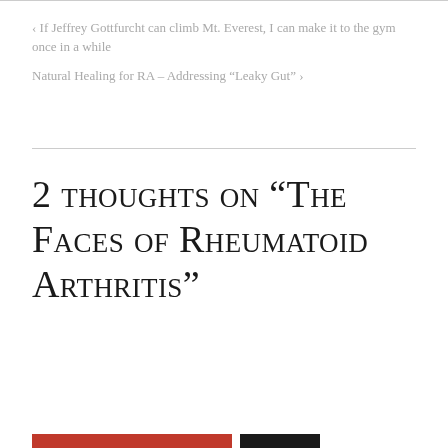‹  If Jeffrey Gottfurcht can climb Mt. Everest, I can make it to the gym once in a while
Natural Healing for RA – Addressing “Leaky Gut”  ›
2 thoughts on “The Faces of Rheumatoid Arthritis”
Privacy & Cookies: This site uses cookies. By continuing to use this website, you agree to their use.
To find out more, including how to control cookies, see here:
Cookie Policy
Close and accept